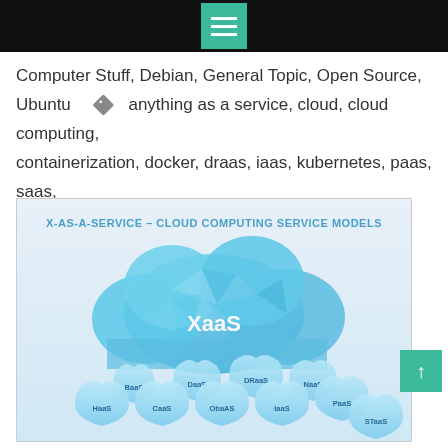Menu/navigation bar
Computer Stuff, Debian, General Topic, Open Source, Ubuntu   anything as a service, cloud, cloud computing, containerization, docker, draas, iaas, kubernetes, paas, saas, virtualization, xaas
[Figure (illustration): X-AS-A-SERVICE – CLOUD COMPUTING SERVICE MODELS infographic showing a blue polygonal cloud labeled XaaS with water droplet shapes below labeled HaaS, BaaS, CaaS, DaaS, DRaaS, ObaAS, NaaS, IaaS, PaaS, STaaS]